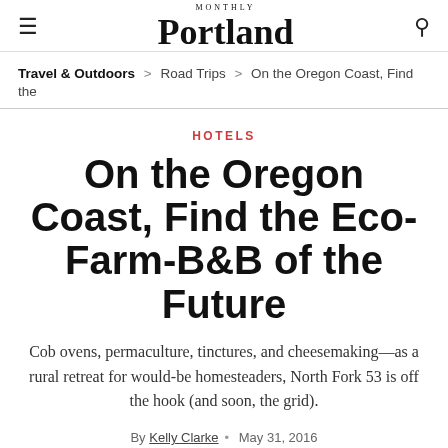Portland Monthly
Travel & Outdoors > Road Trips > On the Oregon Coast, Find the
HOTELS
On the Oregon Coast, Find the Eco-Farm-B&B of the Future
Cob ovens, permaculture, tinctures, and cheesemaking—as a rural retreat for would-be homesteaders, North Fork 53 is off the hook (and soon, the grid).
By Kelly Clarke • May 31, 2016